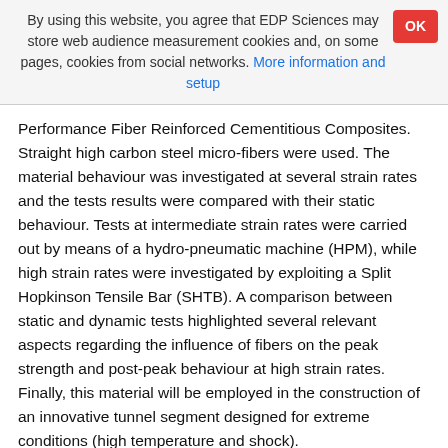By using this website, you agree that EDP Sciences may store web audience measurement cookies and, on some pages, cookies from social networks. More information and setup
Performance Fiber Reinforced Cementitious Composites. Straight high carbon steel micro-fibers were used. The material behaviour was investigated at several strain rates and the tests results were compared with their static behaviour. Tests at intermediate strain rates were carried out by means of a hydro-pneumatic machine (HPM), while high strain rates were investigated by exploiting a Split Hopkinson Tensile Bar (SHTB). A comparison between static and dynamic tests highlighted several relevant aspects regarding the influence of fibers on the peak strength and post-peak behaviour at high strain rates. Finally, this material will be employed in the construction of an innovative tunnel segment designed for extreme conditions (high temperature and shock).